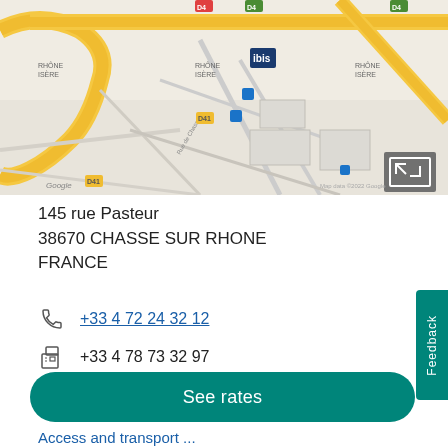[Figure (map): Google Maps view showing the area around 145 rue Pasteur, Chasse-sur-Rhône, France, with roads labeled RHÔNE ISÈRE and nearby infrastructure]
145 rue Pasteur
38670 CHASSE SUR RHONE
FRANCE
+33 4 72 24 32 12
+33 4 78 73 32 97
h2169@accor.com
See rates
Access and transport ...